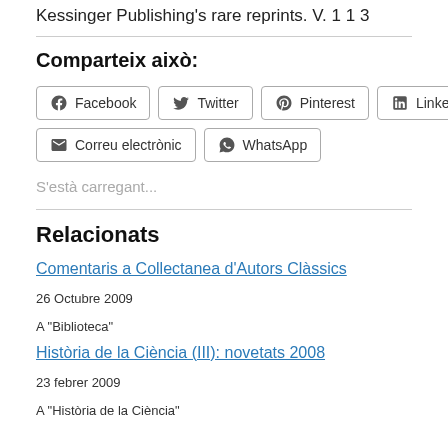Kessinger Publishing's rare reprints. V. 1 1 3
Comparteix això:
Facebook  Twitter  Pinterest  LinkedIn  Correu electrònic  WhatsApp
S'està carregant...
Relacionats
Comentaris a Collectanea d'Autors Clàssics
26 Octubre 2009
A "Biblioteca"
Història de la Ciència (III): novetats 2008
23 febrer 2009
A "Història de la Ciència"